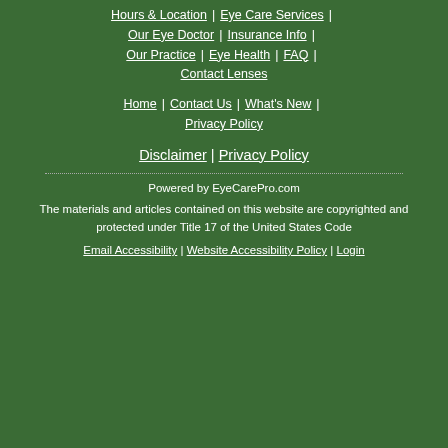Hours & Location | Eye Care Services
Our Eye Doctor | Insurance Info |
Our Practice | Eye Health | FAQ |
Contact Lenses
Home | Contact Us | What's New
Privacy Policy
Disclaimer | Privacy Policy
Powered by EyeCarePro.com
The materials and articles contained on this website are copyrighted and protected under Title 17 of the United States Code
Email Accessibility | Website Accessibility Policy | Login